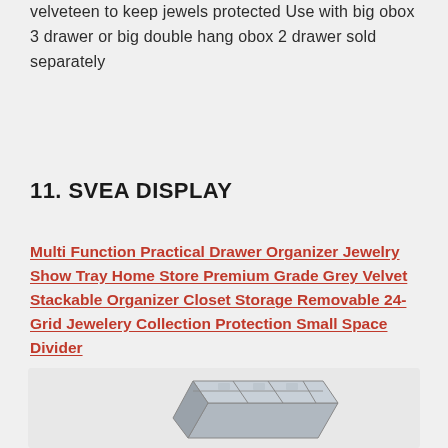velveteen to keep jewels protected Use with big obox 3 drawer or big double hang obox 2 drawer sold separately
11. SVEA DISPLAY
Multi Function Practical Drawer Organizer Jewelry Show Tray Home Store Premium Grade Grey Velvet Stackable Organizer Closet Storage Removable 24-Grid Jewelery Collection Protection Small Space Divider
[Figure (photo): Product image of a grey velvet drawer organizer with multiple compartments]